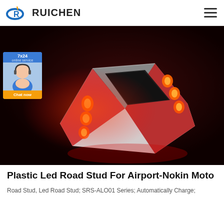RUICHEN
[Figure (photo): A solar-powered plastic LED road stud device illuminated with red/orange LEDs on a dark background. The device is square/diamond shaped with a solar panel in the center and LED lights on the sides. A customer service chat widget is overlaid on the left side showing '7x24 online service' and a 'Chat now' button.]
Plastic Led Road Stud For Airport-Nokin Moto
Road Stud, Led Road Stud; SRS-ALO01 Series; Automatically Charge;